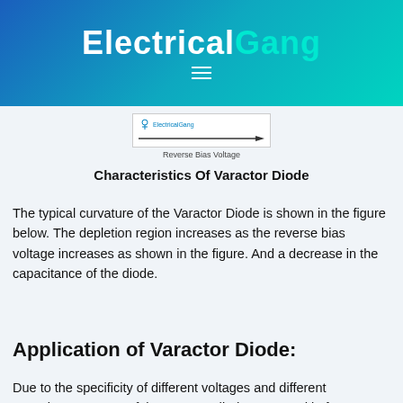ElectricalGang
[Figure (other): Diagram showing Varactor Diode characteristics with reverse bias voltage arrow and ElectricalGang logo]
Reverse Bias Voltage
Characteristics Of Varactor Diode
The typical curvature of the Varactor Diode is shown in the figure below. The depletion region increases as the reverse bias voltage increases as shown in the figure. And a decrease in the capacitance of the diode.
Application of Varactor Diode:
Due to the specificity of different voltages and different capacitances, most of the varactor diodes are used in frequency